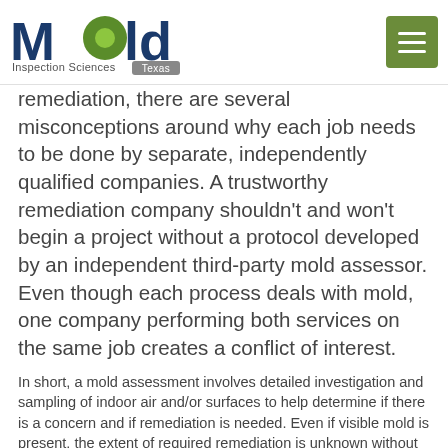Mold Inspection Sciences Texas
remediation, there are several misconceptions around why each job needs to be done by separate, independently qualified companies. A trustworthy remediation company shouldn't and won't begin a project without a protocol developed by an independent third-party mold assessor. Even though each process deals with mold, one company performing both services on the same job creates a conflict of interest.
In short, a mold assessment involves detailed investigation and sampling of indoor air and/or surfaces to help determine if there is a concern and if remediation is needed. Even if visible mold is present, the extent of required remediation is unknown without testing samples. Not all mold problems are the same, and valuable data is collected, so assessment and remediation can successfully work together to stop mold from coming back again.